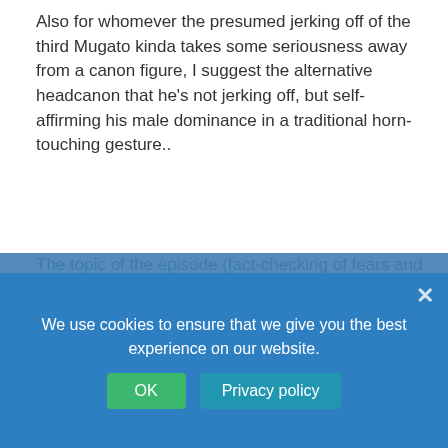Also for whomever the presumed jerking off of the third Mugato kinda takes some seriousness away from a canon figure, I suggest the alternative headcanon that he's not jerking off, but self-affirming his male dominance in a traditional horn-touching gesture..
But as an adult, I am much more disturbed by graphic violence i.e. a head bitten off than by a positive depiction of sexuality.
I think the hidden joke was that the three Mugatos resolve their conflict *peacefully*, with the third one willing to *compromise* ;-D, mirroring the main story. Haha, I like resonance in storytelling and these Mugatos really were the exemplary diplomats :-)
The topic of the episode (fact-checking of fears and not confusing assumptions with destiny) was up-to-date and connected all storylines to each other, and fear was a common topic in [episode name] with regard to [setting-specific matter] for some further...
We use cookies to ensure that we give you the best experience on our website.